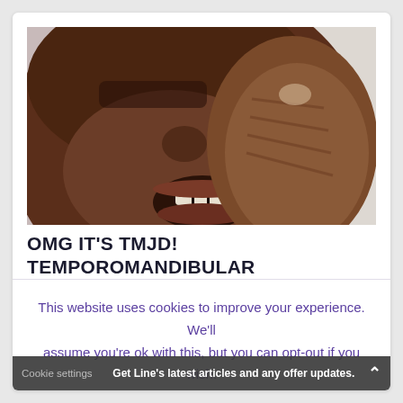[Figure (photo): Close-up photo of a person holding their jaw/cheek with their hand, suggesting jaw pain or TMJ disorder. The subject is a dark-skinned individual with mouth slightly open.]
OMG IT'S TMJD! TEMPOROMANDIBULAR
This website uses cookies to improve your experience. We'll assume you're ok with this, but you can opt-out if you wish.
Cookie settings  ACCEPT  REJECT
Get Line's latest articles and any offer updates.